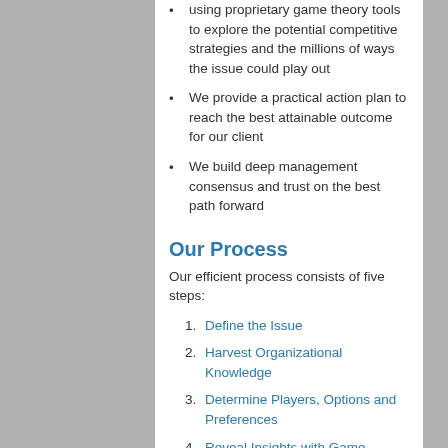using proprietary game theory tools to explore the potential competitive strategies and the millions of ways the issue could play out
We provide a practical action plan to reach the best attainable outcome for our client
We build deep management consensus and trust on the best path forward
Our Process
Our efficient process consists of five steps:
Define the Issue
Harvest Organizational Knowledge
Determine Players, Options and Preferences
Reveal Insights with Game Theory